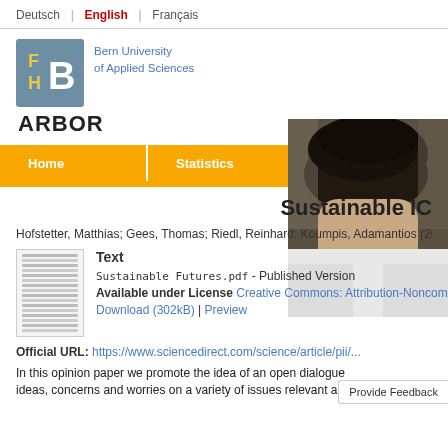Deutsch | English | Français
[Figure (logo): Bern University of Applied Sciences BFH logo with letters F, H, B on blue-grey background, text 'Bern University of Applied Sciences', and ARBOR label below]
[Figure (photo): Close-up photo of back of person's head/neck in white clothing, blurred background]
Home | Statistics (navigation bar)
Sustainable IC
Hofstetter, Matthias; Gees, Thomas; Riedl, Reinhard; Koumpis, Adamantios (2019)
Text
Sustainable Futures.pdf - Published Version
Available under License Creative Commons: Attribution-Noncommercial...
Download (302kB) | Preview
Official URL: https://www.sciencedirect.com/science/article/pii/...
In this opinion paper we promote the idea of an open dialogue ideas, concerns and worries on a variety of issues relevant ar